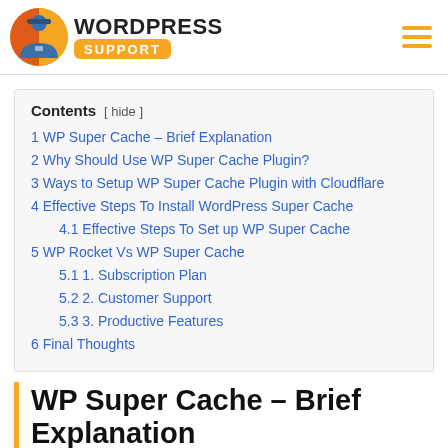WordPress Support
Contents [ hide ]
1 WP Super Cache – Brief Explanation
2 Why Should Use WP Super Cache Plugin?
3 Ways to Setup WP Super Cache Plugin with Cloudflare
4 Effective Steps To Install WordPress Super Cache
4.1 Effective Steps To Set up WP Super Cache
5 WP Rocket Vs WP Super Cache
5.1 1. Subscription Plan
5.2 2. Customer Support
5.3 3. Productive Features
6 Final Thoughts
WP Super Cache – Brief Explanation